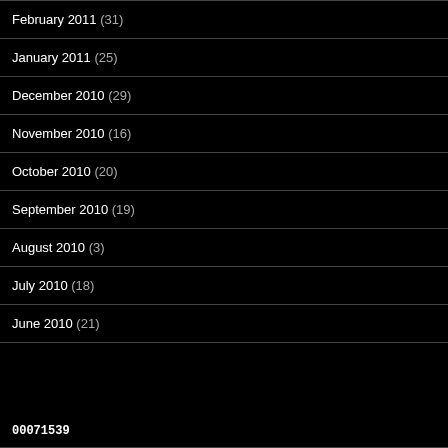February 2011 (31)
January 2011 (25)
December 2010 (29)
November 2010 (16)
October 2010 (20)
September 2010 (19)
August 2010 (3)
July 2010 (18)
June 2010 (21)
00071539